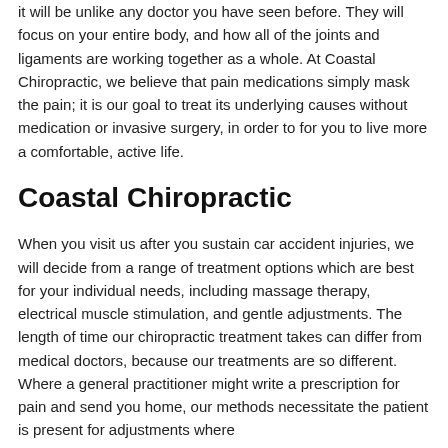it will be unlike any doctor you have seen before. They will focus on your entire body, and how all of the joints and ligaments are working together as a whole. At Coastal Chiropractic, we believe that pain medications simply mask the pain; it is our goal to treat its underlying causes without medication or invasive surgery, in order to for you to live more a comfortable, active life.
Coastal Chiropractic
When you visit us after you sustain car accident injuries, we will decide from a range of treatment options which are best for your individual needs, including massage therapy, electrical muscle stimulation, and gentle adjustments. The length of time our chiropractic treatment takes can differ from medical doctors, because our treatments are so different. Where a general practitioner might write a prescription for pain and send you home, our methods necessitate the patient is present for adjustments where